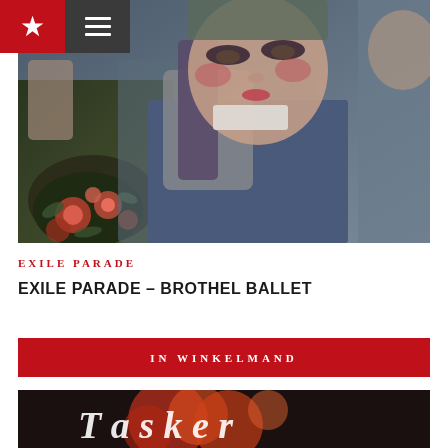★ ☰
[Figure (photo): A young man with theatrical makeup including dark eye makeup and reddish cheeks, wearing layered clothing with a scarf/wrap, lying against floral fabric. Dramatic, artistic editorial photo with saturated colors.]
EXILE PARADE
EXILE PARADE – BROTHEL BALLET
IN WINKELMAND
[Figure (photo): Bottom portion of an album cover showing colorful floral/abstract imagery and partial white stylized lettering (appears to be 'Tasker' or similar text) on dark background.]